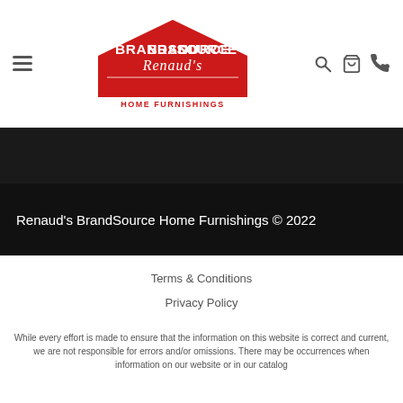[Figure (logo): BrandSource Renaud's Home Furnishings logo — red house/roof shape with BRANDSOURCE text in white, cursive Renaud's script below, and HOME FURNISHINGS in red text]
Renaud's BrandSource Home Furnishings © 2022
Terms & Conditions
Privacy Policy
While every effort is made to ensure that the information on this website is correct and current, we are not responsible for errors and/or omissions. There may be occurrences when information on our website or in our catalog